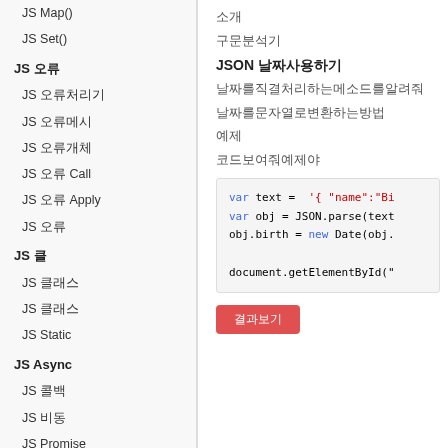JS Map()
JS Set()
JS 오류
JS 오류처리기
JS 오류메시
JS 오류개체
JS 오류 Call
JS 오류 Apply
JS 오류
JS 클
JS 클래스
JS 클래스
JS Static
JS Async
JS 콜백
JS 비동
JS Promise
JS Async
소개
구문분석기
JSON 날짜 사용하기
날짜를직결처리하는메소드를알려줘
날짜를문자열로변환하는방법
예제
코드보여줘예제야
[Figure (screenshot): Code block showing JavaScript: var text = '{ "name":"Bi...', var obj = JSON.parse(text..., obj.birth = new Date(obj...., document.getElementById("...]
[Figure (other): Red button at bottom of page]